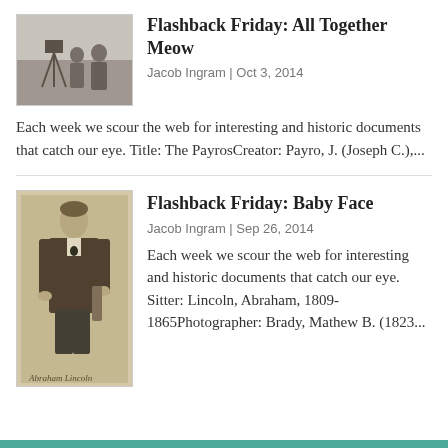[Figure (photo): Black and white historic photograph showing two people with a camera on a tripod outdoors]
Flashback Friday: All Together Meow
Jacob Ingram | Oct 3, 2014
Each week we scour the web for interesting and historic documents that catch our eye. Title: The PayrosCreator: Payro, J. (Joseph C.),...
[Figure (photo): Sepia portrait photograph of Abraham Lincoln standing, with handwritten signature below reading 'Abraham Lincoln']
Flashback Friday: Baby Face
Jacob Ingram | Sep 26, 2014
Each week we scour the web for interesting and historic documents that catch our eye. Sitter: Lincoln, Abraham, 1809-1865Photographer: Brady, Mathew B. (1823...